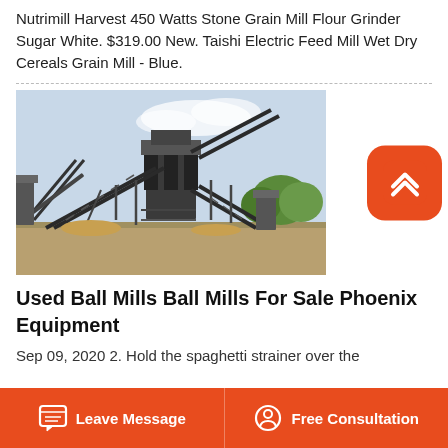Nutrimill Harvest 450 Watts Stone Grain Mill Flour Grinder Sugar White. $319.00 New. Taishi Electric Feed Mill Wet Dry Cereals Grain Mill - Blue.
[Figure (photo): Industrial grain mill / conveyor system with multiple conveyor belts and processing equipment at an outdoor facility.]
Used Ball Mills Ball Mills For Sale Phoenix Equipment
Sep 09, 2020 2. Hold the spaghetti strainer over the
Leave Message   Free Consultation